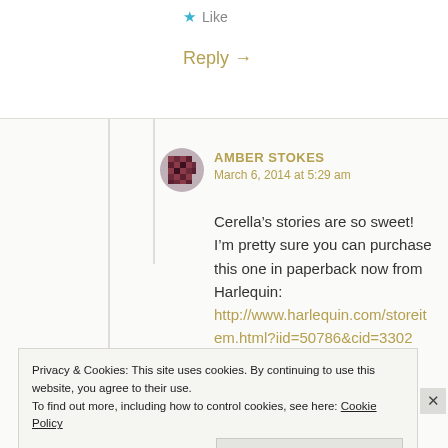★ Like
Reply →
AMBER STOKES
March 6, 2014 at 5:29 am
Cerella's stories are so sweet! I'm pretty sure you can purchase this one in paperback now from Harlequin: http://www.harlequin.com/storeit em.html?iid=50786&cid=3302
Privacy & Cookies: This site uses cookies. By continuing to use this website, you agree to their use.
To find out more, including how to control cookies, see here: Cookie Policy
Close and accept